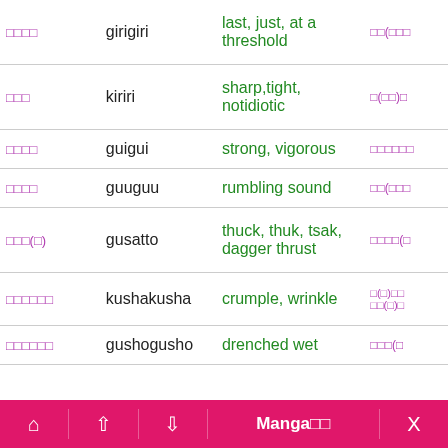| Japanese | Romaji | English | Japanese2 |
| --- | --- | --- | --- |
| □□□□ | girigiri | last, just, at a threshold | □□(□□□ |
| □□□ | kiriri | sharp,tight, notidiotic | □(□□)□ |
| □□□□ | guigui | strong, vigorous | □□□□□□ |
| □□□□ | guuguu | rumbling sound | □□(□□□ |
| □□□(□) | gusatto | thuck, thuk, tsak, dagger thrust | □□□□(□ |
| □□□□□□ | kushakusha | crumple, wrinkle | □(□)□□ □□(□)□ |
| □□□□□□ | gushogu sho | drenched wet | □□□(□ |
Home | Up | Down | Manga□□ | X